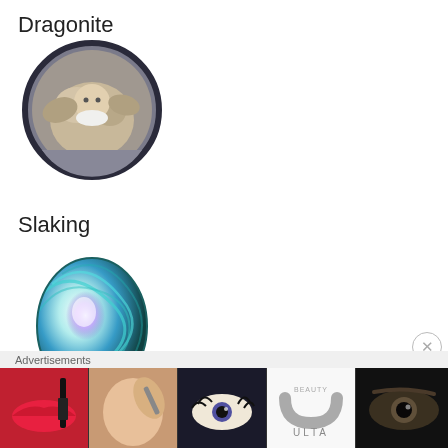Dragonite
[Figure (illustration): Dragonite Pokémon character in circular badge with dark border and grey background]
Slaking
[Figure (illustration): Teal and blue swirling egg icon representing a raid egg in Pokémon GO]
Five-Star Raids
[Figure (illustration): Partial view of Mewtwo circular badge at bottom of page]
Advertisements
[Figure (photo): ULTA beauty advertisement banner showing makeup and cosmetics imagery with Shop Now call to action]